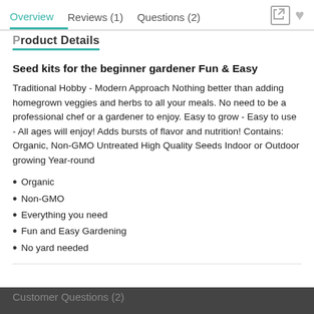Overview   Reviews (1)   Questions (2)
Product Details
Seed kits for the beginner gardener Fun & Easy
Traditional Hobby - Modern Approach Nothing better than adding homegrown veggies and herbs to all your meals. No need to be a professional chef or a gardener to enjoy. Easy to grow - Easy to use - All ages will enjoy! Adds bursts of flavor and nutrition! Contains: Organic, Non-GMO Untreated High Quality Seeds Indoor or Outdoor growing Year-round
Organic
Non-GMO
Everything you need
Fun and Easy Gardening
No yard needed
Customer Questions (2)